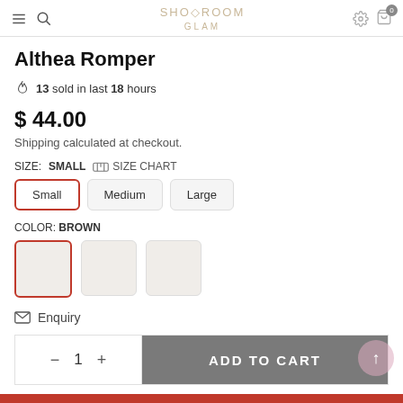SHOWROOM GLAM
Althea Romper
13 sold in last 18 hours
$ 44.00
Shipping calculated at checkout.
SIZE: SMALL  SIZE CHART
Small  Medium  Large
COLOR: BROWN
Enquiry
− 1 +  ADD TO CART